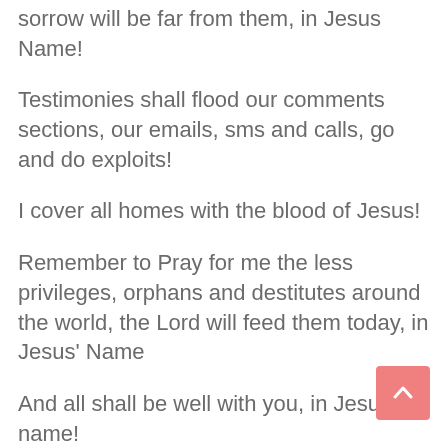sorrow will be far from them, in Jesus Name!
Testimonies shall flood our comments sections, our emails, sms and calls, go and do exploits!
I cover all homes with the blood of Jesus!
Remember to Pray for me the less privileges, orphans and destitutes around the world, the Lord will feed them today, in Jesus' Name
And all shall be well with you, in Jesus name!
And at the end we shall not be cast away in Jesus Name!
Go ahead and celebrate God for this